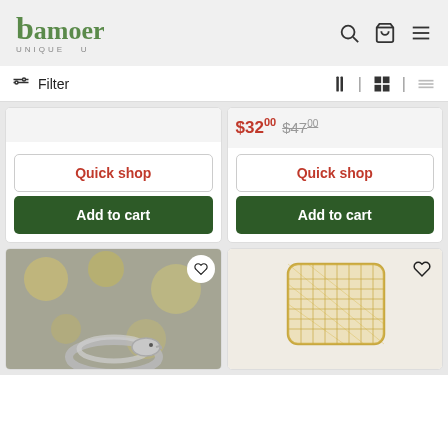Bamoer UNIQUE U
Filter
$32.00 $47.00 Quick shop Add to cart (left card top)
$32.00 $47.00 Quick shop Add to cart (right card top)
[Figure (photo): Bottom left product card with silver ring jewelry on blurred yellow background]
[Figure (photo): Bottom right product card with gold mesh cuff bracelet on light background]